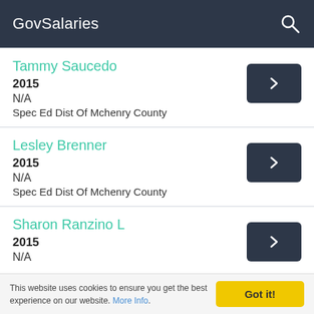GovSalaries
Tammy Saucedo | 2015 | N/A | Spec Ed Dist Of Mchenry County
Lesley Brenner | 2015 | N/A | Spec Ed Dist Of Mchenry County
Sharon Ranzino L | 2015 | N/A
This website uses cookies to ensure you get the best experience on our website. More Info.